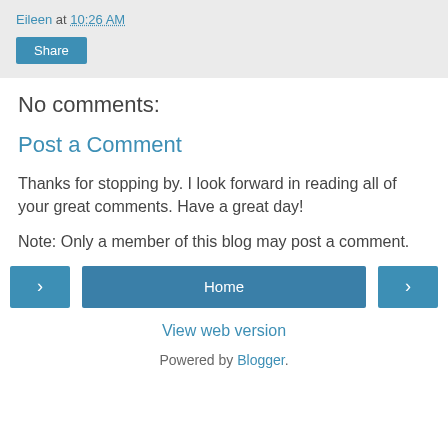Eileen at 10:26 AM
Share
No comments:
Post a Comment
Thanks for stopping by. I look forward in reading all of your great comments. Have a great day!
Note: Only a member of this blog may post a comment.
< Home > View web version Powered by Blogger.